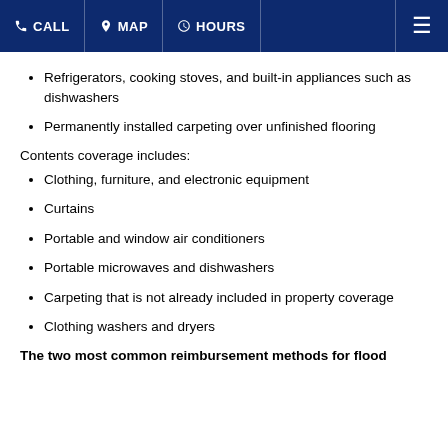CALL | MAP | HOURS
Refrigerators, cooking stoves, and built-in appliances such as dishwashers
Permanently installed carpeting over unfinished flooring
Contents coverage includes:
Clothing, furniture, and electronic equipment
Curtains
Portable and window air conditioners
Portable microwaves and dishwashers
Carpeting that is not already included in property coverage
Clothing washers and dryers
The two most common reimbursement methods for flood